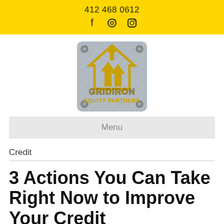412 468 0612
[Figure (logo): Gridiron Equity Partners logo on metal diamond plate background with house/arrow icon]
Menu
Credit
3 Actions You Can Take Right Now to Improve Your Credit